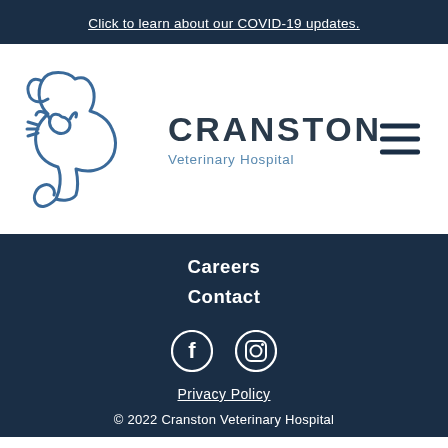Click to learn about our COVID-19 updates.
[Figure (logo): Cranston Veterinary Hospital logo with blue line art of a dog and cat silhouette, and the text CRANSTON Veterinary Hospital]
Careers
Contact
[Figure (illustration): Social media icons: Facebook (f) and Instagram (camera) in white on dark navy background]
Privacy Policy
© 2022 Cranston Veterinary Hospital